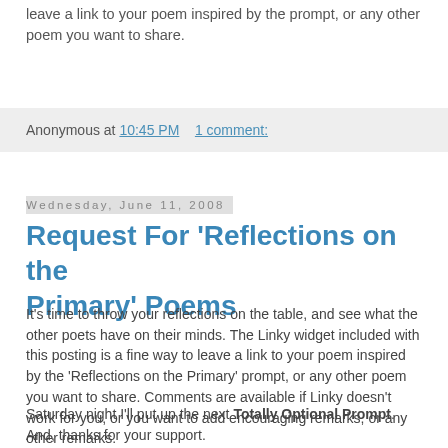leave a link to your poem inspired by the prompt, or any other poem you want to share.
Anonymous at 10:45 PM   1 comment:
Wednesday, June 11, 2008
Request For 'Reflections on the Primary' Poems
It's time to throw your reflections on the table, and see what the other poets have on their minds. The Linky widget included with this posting is a fine way to leave a link to your poem inspired by the 'Reflections on the Primary' prompt, or any other poem you want to share. Comments are available if Linky doesn't work for you, or you want to add encouraging remarks, or any other remarks.
Saturday night I'll put up the next Totally Optional Prompt. And, thanks for your support.